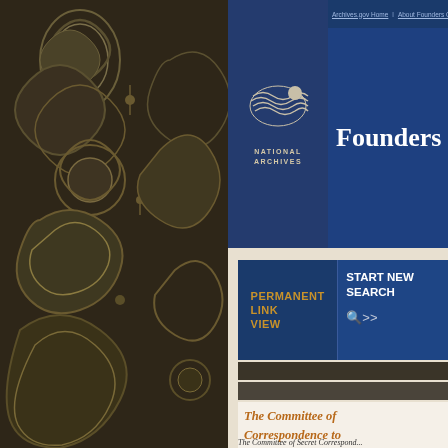[Figure (illustration): Decorative dark brown floral paisley pattern panel on left side of page]
[Figure (logo): National Archives eagle logo with text NATIONAL ARCHIVES below]
Archives.gov Home   About Founders Online
Founders Online
PERMANENT LINK VIEW
START NEW SEARCH
The Committee of Correspondence to Delap, 10 July 1776
The Committee of Secret Correspond...